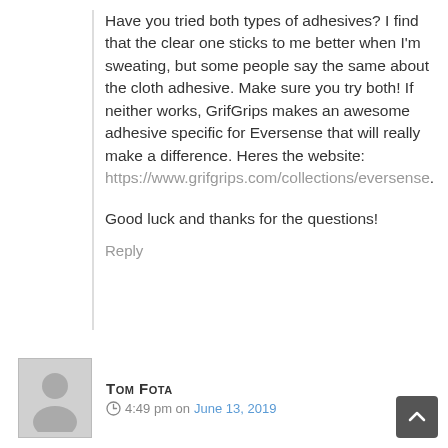Have you tried both types of adhesives? I find that the clear one sticks to me better when I'm sweating, but some people say the same about the cloth adhesive. Make sure you try both! If neither works, GrifGrips makes an awesome adhesive specific for Eversense that will really make a difference. Heres the website: https://www.grifgrips.com/collections/eversense.

Good luck and thanks for the questions!
Reply
Tom Fota
4:49 pm on June 13, 2019